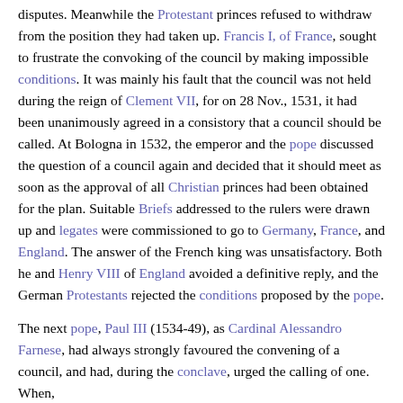disputes. Meanwhile the Protestant princes refused to withdraw from the position they had taken up. Francis I, of France, sought to frustrate the convoking of the council by making impossible conditions. It was mainly his fault that the council was not held during the reign of Clement VII, for on 28 Nov., 1531, it had been unanimously agreed in a consistory that a council should be called. At Bologna in 1532, the emperor and the pope discussed the question of a council again and decided that it should meet as soon as the approval of all Christian princes had been obtained for the plan. Suitable Briefs addressed to the rulers were drawn up and legates were commissioned to go to Germany, France, and England. The answer of the French king was unsatisfactory. Both he and Henry VIII of England avoided a definitive reply, and the German Protestants rejected the conditions proposed by the pope.
The next pope, Paul III (1534-49), as Cardinal Alessandro Farnese, had always strongly favoured the convening of a council, and had, during the conclave, urged the calling of one. When,